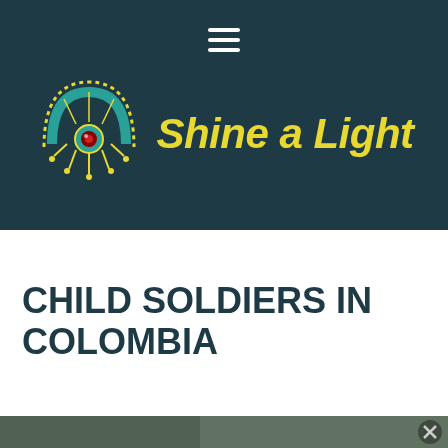[Figure (logo): Shine a Light logo with colorful indigenous-style sun/eye emblem and yellow italic text reading 'Shine a Light' on dark teal background with hamburger menu icon]
CHILD SOLDIERS IN COLOMBIA
[Figure (photo): Partial view of a dark, blurred outdoor photograph at the bottom of the page with an X close button in the lower right corner]